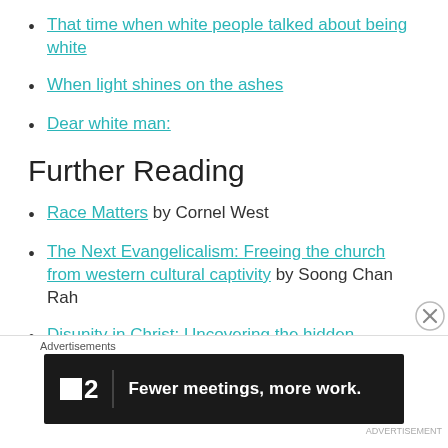That time when white people talked about being white
When light shines on the ashes
Dear white man:
Further Reading
Race Matters by Cornel West
The Next Evangelicalism: Freeing the church from western cultural captivity by Soong Chan Rah
Disunity in Christ: Uncovering the hidden
Advertisements
[Figure (other): Advertisement banner for Fewer Meetings app with text: Fewer meetings, more work.]